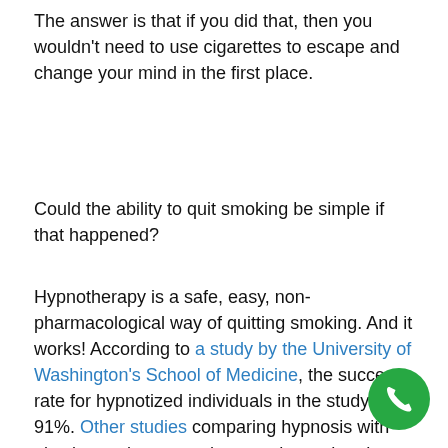The answer is that if you did that, then you wouldn't need to use cigarettes to escape and change your mind in the first place.
Could the ability to quit smoking be simple if that happened?
Hypnotherapy is a safe, easy, non-pharmacological way of quitting smoking. And it works! According to a study by the University of Washington's School of Medicine, the success rate for hypnotized individuals in the study is 91%. Other studies comparing hypnosis with nicotine replacement therapy shows that the hypnotized group had a higher success rate than the group still using nicotine. Why? Because hypnotherapy recognises that smoking behaviour isn't merely a biochemical dependency—it stems from thoughts and beliefs dee...